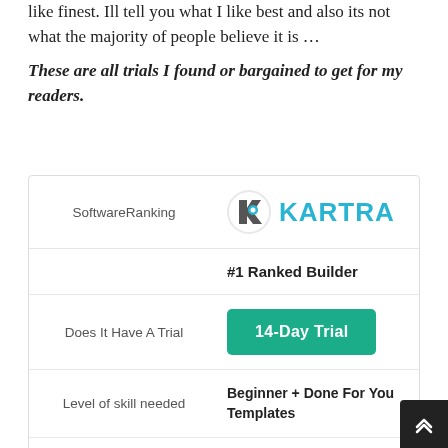like finest. Ill tell you what I like best and also its not what the majority of people believe it is …
These are all trials I found or bargained to get for my readers.
| Label | Value |
| --- | --- |
| SoftwareRanking | KARTRA #1 Ranked Builder |
| Does It Have A Trial | 14-Day Trial |
| Level of skill needed | Beginner + Done For You Templates |
| Features | MASSIVE amount of features… |